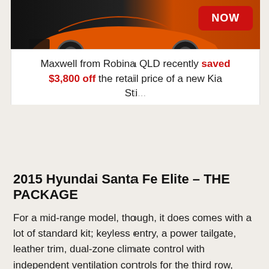[Figure (screenshot): Advertisement banner showing an orange car (Kia Stinger) with a red 'NOW' button on a dark background]
Maxwell from Robina QLD recently saved $3,800 off the retail price of a new Kia Sti...
2015 Hyundai Santa Fe Elite – THE PACKAGE
For a mid-range model, though, it does comes with a lot of standard kit; keyless entry, a power tailgate, leather trim, dual-zone climate control with independent ventilation controls for the third row, rain-sensing wipers, as well as auto headlights.
Step inside the Santa Fe and you're greeted with an airy cabin that uses various shades and textures to create a modern feel, even if some of the plastics do appear a little on the cheap side.